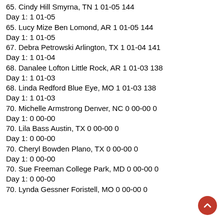65. Cindy Hill Smyrna, TN 1 01-05 144
Day 1: 1 01-05
65. Lucy Mize Ben Lomond, AR 1 01-05 144
Day 1: 1 01-05
67. Debra Petrowski Arlington, TX 1 01-04 141
Day 1: 1 01-04
68. Danalee Lofton Little Rock, AR 1 01-03 138
Day 1: 1 01-03
68. Linda Redford Blue Eye, MO 1 01-03 138
Day 1: 1 01-03
70. Michelle Armstrong Denver, NC 0 00-00 0
Day 1: 0 00-00
70. Lila Bass Austin, TX 0 00-00 0
Day 1: 0 00-00
70. Cheryl Bowden Plano, TX 0 00-00 0
Day 1: 0 00-00
70. Sue Freeman College Park, MD 0 00-00 0
Day 1: 0 00-00
70. Lynda Gessner Foristell, MO 0 00-00 0